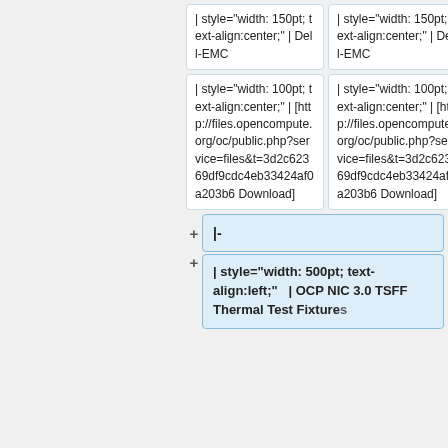| style="width: 150pt; text-align:center;" | Dell-EMC
| style="width: 150pt; text-align:center;" | Dell-EMC
| style="width: 100pt; text-align:center;" | [http://files.opencompute.org/oc/public.php?service=files&t=3d2c62369df9cdc4eb33424af0a203b6 Download]
| style="width: 100pt; text-align:center;" | [http://files.opencompute.org/oc/public.php?service=files&t=3d2c62369df9cdc4eb33424af0a203b6 Download]
|-
| style="width: 500pt; text-align:left;"  | OCP NIC 3.0 TSFF Thermal Test Fixtures